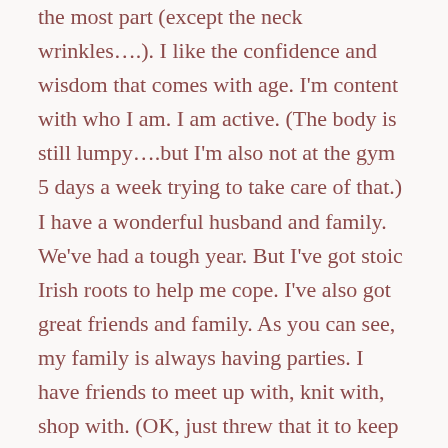the most part (except the neck wrinkles….). I like the confidence and wisdom that comes with age. I'm content with who I am. I am active. (The body is still lumpy….but I'm also not at the gym 5 days a week trying to take care of that.) I have a wonderful husband and family. We've had a tough year. But I've got stoic Irish roots to help me cope. I've also got great friends and family. As you can see, my family is always having parties. I have friends to meet up with, knit with, shop with. (OK, just threw that it to keep you on your toes.) I don't really like shopping…. I have a super network of online friends (we'll talk about catfishing another day.) I am still working on some of that blog dan I...